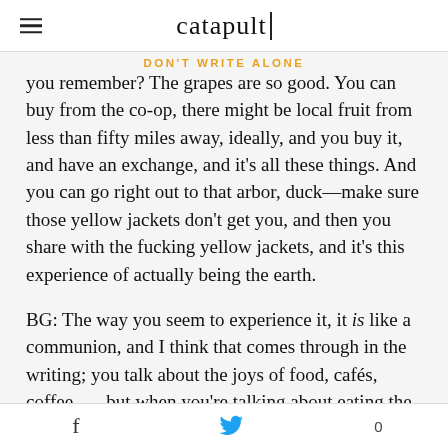catapult
DON'T WRITE ALONE
you remember? The grapes are so good. You can buy from the co-op, there might be local fruit from less than fifty miles away, ideally, and you buy it, and have an exchange, and it's all these things. And you can go right out to that arbor, duck—make sure those yellow jackets don't get you, and then you share with the fucking yellow jackets, and it's this experience of actually being the earth.
BG: The way you seem to experience it, it is like a communion, and I think that comes through in the writing; you talk about the joys of food, cafés, coffee . . . but when you're talking about eating the figs, there's a
f  [twitter bird]  0